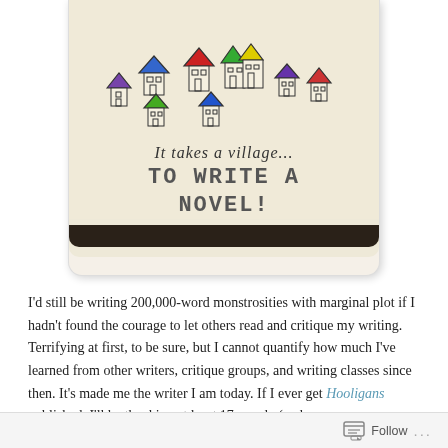[Figure (illustration): A photo/illustration styled like an Instagram polaroid photo showing hand-drawn colorful houses with text 'It takes a village... TO WRITE A NOVEL!' written in hand-lettering style on a cream/beige background.]
I'd still be writing 200,000-word monstrosities with marginal plot if I hadn't found the courage to let others read and critique my writing. Terrifying at first, to be sure, but I cannot quantify how much I've learned from other writers, critique groups, and writing classes since then. It's made me the writer I am today. If I ever get Hooligans published, I'll be thanking at least 17 people (and
Follow ...